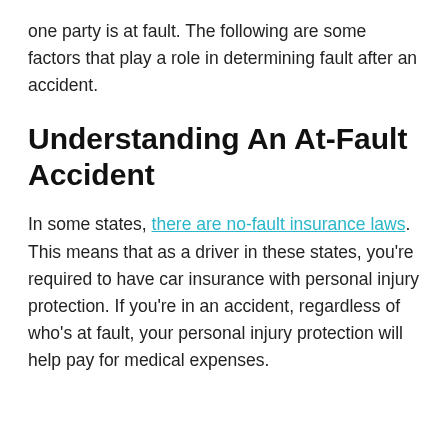one party is at fault. The following are some factors that play a role in determining fault after an accident.
Understanding An At-Fault Accident
In some states, there are no-fault insurance laws. This means that as a driver in these states, you’re required to have car insurance with personal injury protection. If you’re in an accident, regardless of who’s at fault, your personal injury protection will help pay for medical expenses.